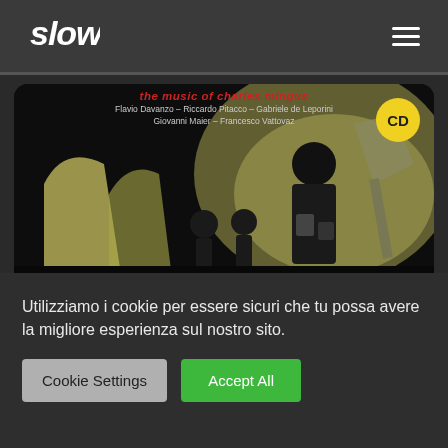slow (logo) — hamburger menu
[Figure (photo): Album cover artwork for 'The Music of Charles Mingus' featuring illustrated silhouetted musicians in dark olive/yellow tones. Text on cover: 'the music of charles mingus' in red italic, 'Flavio Davanzo – Riccardo Pitacco – Gabriele de Leporini / Giovanni Maier – Francesco Vattovaz' in white. Yellow 'CD' badge top right.]
Utilizziamo i cookie per essere sicuri che tu possa avere la migliore esperienza sul nostro sito.
Cookie Settings
Accept All